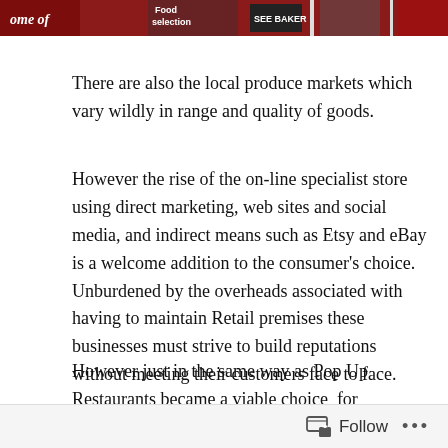[Figure (photo): Cropped top portion of a photo showing a red retail store sign with text including 'Home of', 'selection', and other partial text]
There are also the local produce markets which vary wildly in range and quality of goods.
However the rise of the on-line specialist store using direct marketing, web sites and social media, and indirect means such as Etsy and eBay is a welcome addition to the consumer's choice. Unburdened by the overheads associated with having to maintain Retail premises these businesses must strive to build reputations without meeting their customers face to face.
However just in the same way as Pop Up Restaurants became a viable choice for restaurant owners so too have events, festivals, and sporting occasions offered a suitable platform for retail businesses. Now, with joined
Follow ...